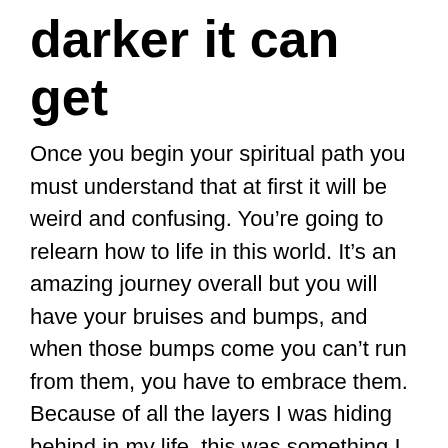darker it can get
Once you begin your spiritual path you must understand that at first it will be weird and confusing. You're going to relearn how to life in this world. It's an amazing journey overall but you will have your bruises and bumps, and when those bumps come you can't run from them, you have to embrace them. Because of all the layers I was hiding behind in my life, this was something I had to learn and deal with and it was very hard to do so. The more I journeyed into spiritual awakening the more layers got peeled off from me. I started to feel more and more exposed to the world. All those corrupted thoughts deep inside me starting changing